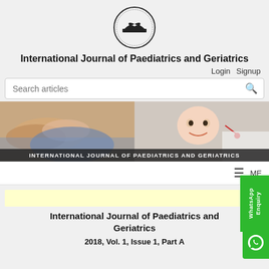[Figure (logo): Circular logo of International Journal of Paediatrics and Geriatrics with an open book and bird motif]
International Journal of Paediatrics and Geriatrics
Login   Signup
Search articles
[Figure (photo): Banner photo showing elderly hands being held on the left and a baby being examined by a doctor on the right, with text overlay: INTERNATIONAL JOURNAL OF PAEDIATRICS AND GERIATRICS]
≡   ME
International Journal of Paediatrics and Geriatrics
2018, Vol. 1, Issue 1, Part A